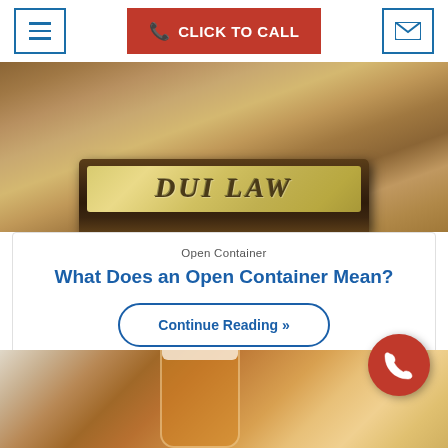CLICK TO CALL
[Figure (photo): DUI LAW nameplate/plaque on a wooden desk surface]
Open Container
What Does an Open Container Mean?
Continue Reading »
[Figure (photo): Person holding a glass of beer]